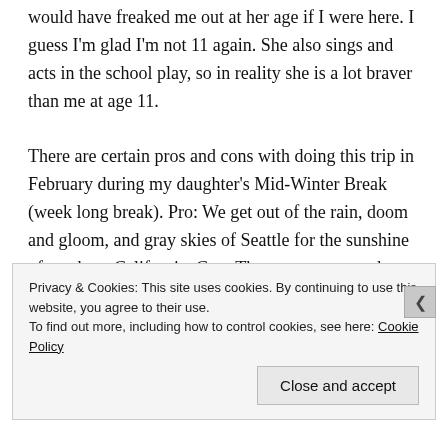would have freaked me out at her age if I were here. I guess I'm glad I'm not 11 again. She also sings and acts in the school play, so in reality she is a lot braver than me at age 11.
There are certain pros and cons with doing this trip in February during my daughter's Mid-Winter Break (week long break). Pro: We get out of the rain, doom and gloom, and gray skies of Seattle for the sunshine of southern California. Con: The amusement parks are on limited hours and limited operating days. For example, Knott's Berry Farm was open all week but hours were 10
Privacy & Cookies: This site uses cookies. By continuing to use this website, you agree to their use.
To find out more, including how to control cookies, see here: Cookie Policy
Close and accept